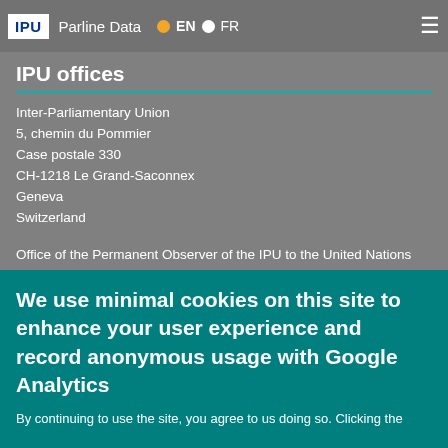IPU  Parline Data  EN  FR
IPU offices
Inter-Parliamentary Union
5, chemin du Pommier
Case postale 330
CH-1218 Le Grand-Saconnex
Geneva
Switzerland
Office of the Permanent Observer of the IPU to the United Nations
336 East 45th Street, Tenth Floor
New York, NY 10017
United States of America
Office of the Permanent Observer of the IPU to the United Nations and other International Organizations in Vienna
Stubenring 8-10
Vienna, 1010, Austria
We use minimal cookies on this site to enhance your user experience and record anonymous usage with Google Analytics
By continuing to use the site, you agree to us doing so. Clicking the